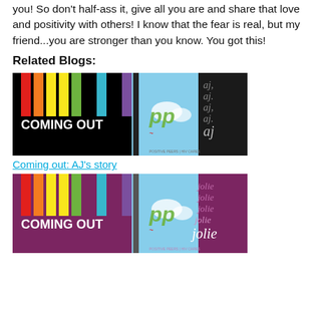you! So don't half-ass it, give all you are and share that love and positivity with others! I know that the fear is real, but my friend...you are stronger than you know. You got this!
Related Blogs:
[Figure (illustration): Coming Out blog image with colorful stripes, a door opening to sky with 'pp' logo and 'aj aj aj aj aj' text on black background]
Coming out: AJ's story
[Figure (illustration): Coming Out blog image with colorful stripes, a door opening to sky with 'pp' logo and 'jolie jolie jolie jolie jolie' text on purple background]